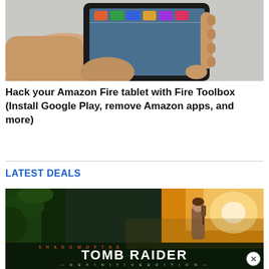[Figure (photo): A hand holding an Amazon Fire tablet displaying an app store screen with app icons and a water/ocean background.]
Hack your Amazon Fire tablet with Fire Toolbox (Install Google Play, remove Amazon apps, and more)
LATEST DEALS
[Figure (photo): Shadow of the Tomb Raider Definitive Edition promotional image showing Lara Croft in a jungle environment with dramatic lighting and the game title text overlaid.]